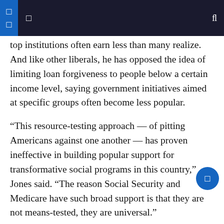Navigation header with menu icons and search
top institutions often earn less than many realize. And like other liberals, he has opposed the idea of limiting loan forgiveness to people below a certain income level, saying government initiatives aimed at specific groups often become less popular.
“This resource-testing approach — of pitting Americans against one another — has proven ineffective in building popular support for transformative social programs in this country,” Jones said. “The reason Social Security and Medicare have such broad support is that they are not means-tested, they are universal.”
The most conservative Democrat in the Senate, Joe Manchin III of West Virginia, who represents a state with many Trump voters who are no college education urged Biden to exercise caution in proposing any large-scale loan